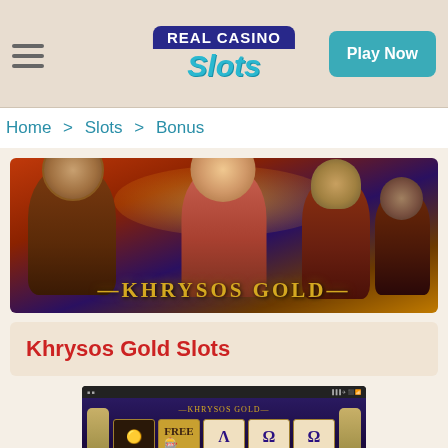Real Casino Slots — Play Now
Home > Slots > Bonus
[Figure (illustration): Khrysos Gold slot game banner with ancient Greek/Roman characters and golden title text]
Khrysos Gold Slots
[Figure (screenshot): Screenshot of Khrysos Gold slot machine game showing reels with symbols including Lambda and Omega letters, statues on either side]